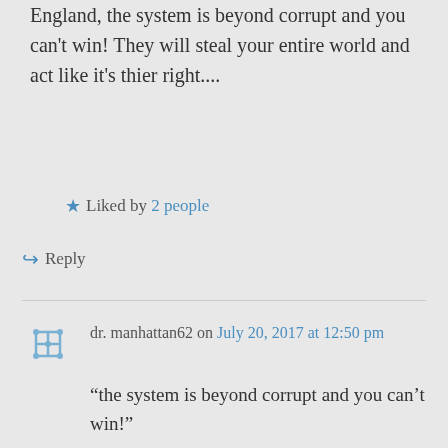England, the system is beyond corrupt and you can't win! They will steal your entire world and act like it's thier right....
Liked by 2 people
Reply
dr. manhattan62 on July 20, 2017 at 12:50 pm
“the system is beyond corrupt and you can’t win!”
yes James you are right again. You cant win with the current Rigged system.
many pregnant women have fled